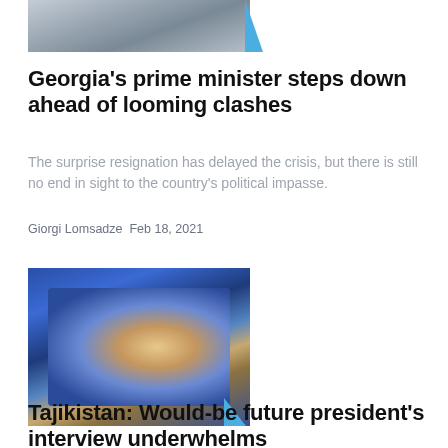[Figure (photo): Partial image of people walking, cropped at top of page]
Georgia's prime minister steps down ahead of looming clashes
The surprise resignation has delayed the crisis, but there is still no end in sight to the country's political impasse.
Giorgi Lomsadze Feb 18, 2021
[Figure (photo): Two men wearing face masks seated in an auditorium with blue chairs, applauding]
Tajikistan: Would-be future president's interview underwhelms